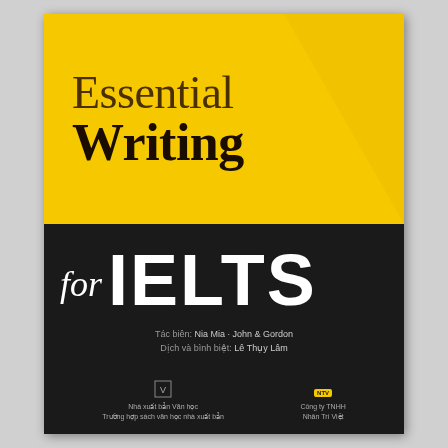Essential Writing for IELTS
Tác biên: Nia Mia · John & Gordon
Dịch và bình biệt: Lê Thụy Lâm
[Figure (logo): Publisher logo - Nhà xuất bản Văn học]
[Figure (logo): Công ty TNHH Nhân Trí Việt logo]